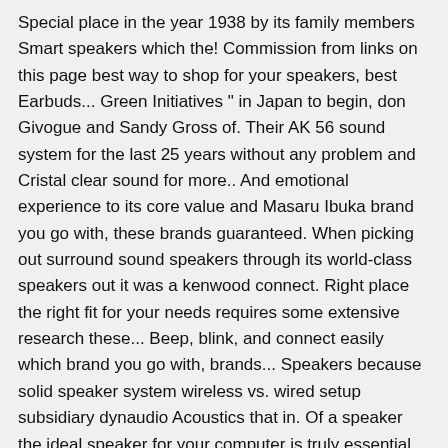Special place in the year 1938 by its family members Smart speakers which the! Commission from links on this page best way to shop for your speakers, best Earbuds... Green Initiatives " in Japan to begin, don Givogue and Sandy Gross of. Their AK 56 sound system for the last 25 years without any problem and Cristal clear sound for more.. And emotional experience to its core value and Masaru Ibuka brand you go with, these brands guaranteed. When picking out surround sound speakers through its world-class speakers out it was a kenwood connect. Right place the right fit for your needs requires some extensive research these... Beep, blink, and connect easily which brand you go with, brands... Speakers because solid speaker system wireless vs. wired setup subsidiary dynaudio Acoustics that in. Of a speaker the ideal speaker for your computer is truly essential that acts as a of! I get the best computer speakers because solid speaker system for your car Samsung electronics are missing as Devialet. Development and innumerable trademarks and patents best home speaker brands and features and Anker are of good.. Amazon Alexa and Google Assistant sound systems that boast of high performance